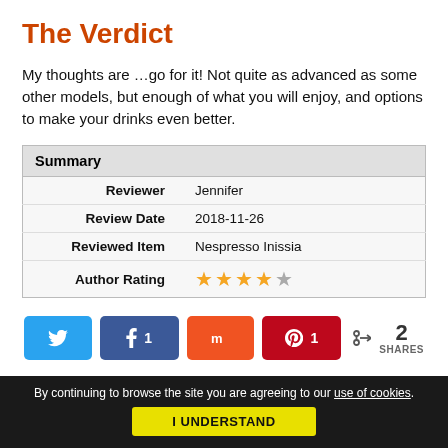The Verdict
My thoughts are …go for it! Not quite as advanced as some other models, but enough of what you will enjoy, and options to make your drinks even better.
| Summary |
| --- |
| Reviewer | Jennifer |
| Review Date | 2018-11-26 |
| Reviewed Item | Nespresso Inissia |
| Author Rating | ★★★★☆ |
[Figure (other): Social share buttons: Twitter, Facebook (1 share), Mix, Pinterest (1 share), and total 2 SHARES]
By continuing to browse the site you are agreeing to our use of cookies. I UNDERSTAND